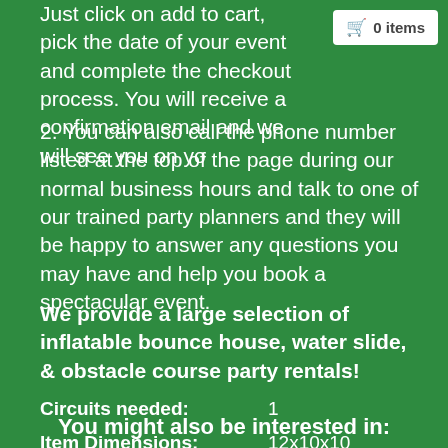Just click on add to cart, pick the date of your event and complete the checkout process. You will receive a confirmation email and we will see you on yo…
2. You can also call the phone number listed at the top of the page during our normal business hours and talk to one of our trained party planners and they will be happy to answer any questions you may have and help you book a spectacular event.
We provide a large selection of inflatable bounce house, water slide, & obstacle course party rentals!
| Circuits needed: | 1 |
| Item Dimensions: | 12x10x10 |
You might also be interested in: